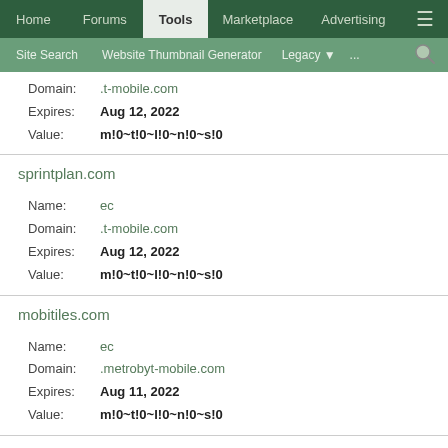Home | Forums | Tools | Marketplace | Advertising
Site Search | Website Thumbnail Generator | Legacy | ...
Domain: .t-mobile.com
Expires: Aug 12, 2022
Value: m!0~t!0~l!0~n!0~s!0
sprintplan.com
Name: ec
Domain: .t-mobile.com
Expires: Aug 12, 2022
Value: m!0~t!0~l!0~n!0~s!0
mobitiles.com
Name: ec
Domain: .metrobyt-mobile.com
Expires: Aug 11, 2022
Value: m!0~t!0~l!0~n!0~s!0
sprintdeals.com
Name: ec
Domain: .t-mobile.com
Expires: Aug 11, 2022
Value: m!0~t!0~l!0~n!0~s!0
myt-mobile.com